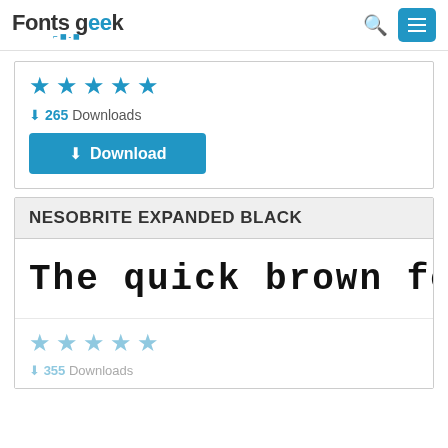Fonts Geek
[Figure (screenshot): Five blue star rating icons]
265 Downloads
Download
NESOBRITE EXPANDED BLACK
The quick brown fox jumps o
[Figure (screenshot): Five light blue star rating icons]
355 Downloads